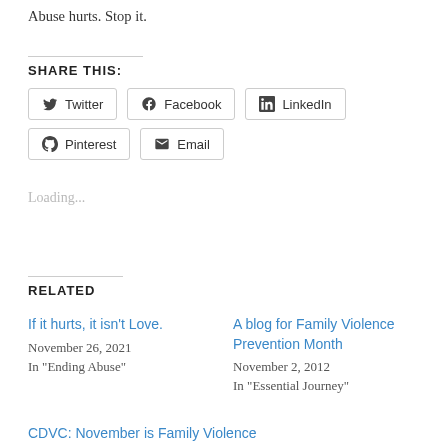Abuse hurts. Stop it.
SHARE THIS:
Twitter  Facebook  LinkedIn  Pinterest  Email
Loading...
RELATED
If it hurts, it isn't Love.
November 26, 2021
In "Ending Abuse"
A blog for Family Violence Prevention Month
November 2, 2012
In "Essential Journey"
CDVC: November is Family Violence